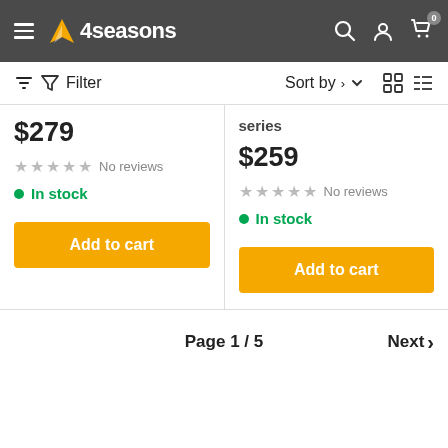4seasons — navigation header with hamburger menu, logo, search, account, and cart icons
Filter   Sort by ▾
series
$279
☆☆☆☆☆ No reviews
● In stock
$259
☆☆☆☆☆ No reviews
● In stock
Add to cart
Add to cart
Page 1 / 5   Next >